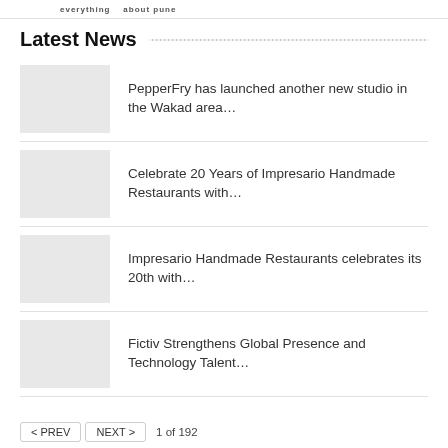everything about pune
Latest News
PepperFry has launched another new studio in the Wakad area…
Celebrate 20 Years of Impresario Handmade Restaurants with…
Impresario Handmade Restaurants celebrates its 20th with…
Fictiv Strengthens Global Presence and Technology Talent…
< PREV   NEXT >   1 of 192